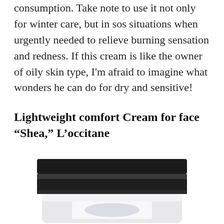consumption. Take note to use it not only for winter care, but in sos situations when urgently needed to relieve burning sensation and redness. If this cream is like the owner of oily skin type, I'm afraid to imagine what wonders he can do for dry and sensitive!
Lightweight comfort Cream for face “Shea,” L’occitane
[Figure (photo): A cream jar product photo showing a round jar with a dark lid, partially visible at the bottom of the page. The jar appears to be L'occitane Shea cream.]